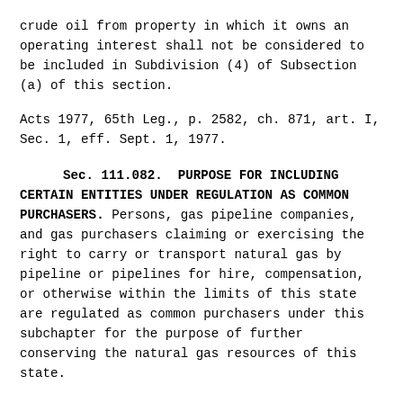crude oil from property in which it owns an operating interest shall not be considered to be included in Subdivision (4) of Subsection (a) of this section.
Acts 1977, 65th Leg., p. 2582, ch. 871, art. I, Sec. 1, eff. Sept. 1, 1977.
Sec. 111.082.  PURPOSE FOR INCLUDING CERTAIN ENTITIES UNDER REGULATION AS COMMON PURCHASERS.  Persons, gas pipeline companies, and gas purchasers claiming or exercising the right to carry or transport natural gas by pipeline or pipelines for hire, compensation, or otherwise within the limits of this state are regulated as common purchasers under this subchapter for the purpose of further conserving the natural gas resources of this state.